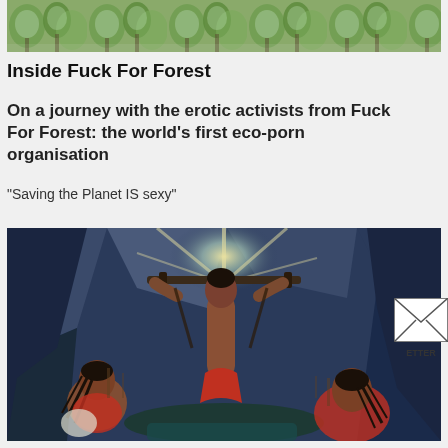[Figure (photo): Top partial photo of frost-covered forest trees or vegetation]
Inside Fuck For Forest
On a journey with the erotic activists from Fuck For Forest: the world's first eco-porn organisation
“Saving the Planet IS sexy”
[Figure (illustration): Stylized illustration of a figure with arms raised holding a stick above their head, surrounded by dark angular rock shapes, with two other figures below in a ritualistic or ceremonial scene. Rendered in bold colors: blues, reds, and earth tones.]